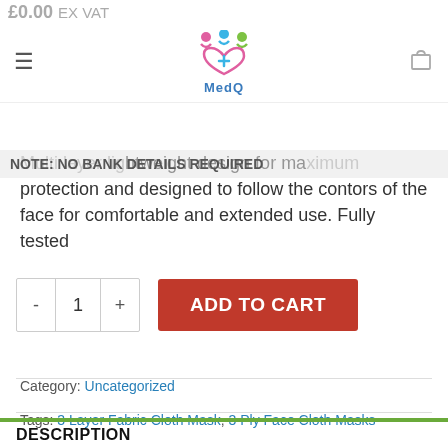£0.00 EX VAT
[Figure (logo): MedQ logo with colorful heart and people figures above the word MedQ]
NOTE: NO BANK DETAILS REQUIRED
Multi layer lightweight design for maximum protection and designed to follow the contors of the face for comfortable and extended use. Fully tested
- 1 + ADD TO CART
Category: Uncategorized
Tags: 3 Layer Fabric Cloth Mask, 3 Ply Face Cloth Masks
DESCRIPTION